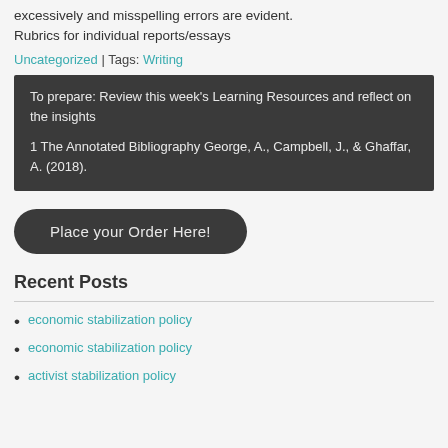excessively and misspelling errors are evident. Rubrics for individual reports/essays
Uncategorized | Tags: Writing
To prepare: Review this week's Learning Resources and reflect on the insights

1 The Annotated Bibliography George, A., Campbell, J., & Ghaffar, A. (2018).
Place your Order Here!
Recent Posts
economic stabilization policy
economic stabilization policy
activist stabilization policy